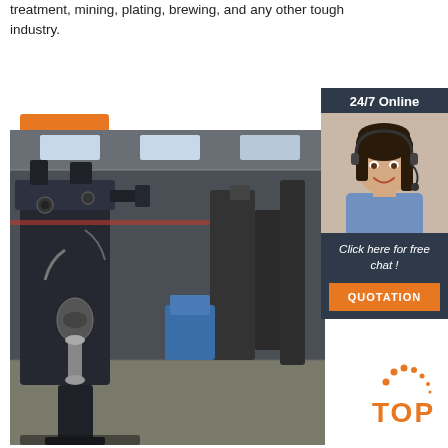treatment, mining, plating, brewing, and any other tough industry.
Get Price
[Figure (photo): Industrial machinery in a large warehouse/factory floor, showing large dark-colored mechanical equipment/machines]
[Figure (infographic): 24/7 Online chat widget with a customer service representative photo, 'Click here for free chat!' text, and QUOTATION button]
[Figure (logo): TOP logo with orange dot-arc decoration]